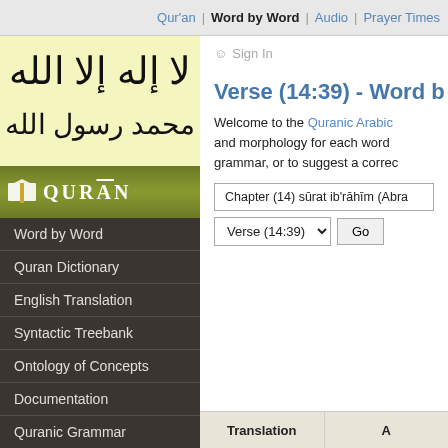Qur'an | Word by Word | Audio | Prayer Times
[Figure (illustration): Arabic calligraphy of the Shahada (Islamic declaration of faith) in black on cream/yellow background]
[Figure (logo): Qur'an banner logo with open book icon on olive/green gradient background with text QUR'AN]
Word by Word
Quran Dictionary
English Translation
Syntactic Treebank
Ontology of Concepts
Documentation
Quranic Grammar
Message Board
Sign In
Verse (14:39) - Word b
Welcome to the Quranic Arabic and morphology for each word grammar, or to suggest a correc
Chapter (14) sūrat ib'rāhīm (Abra
Verse (14:39)   Go
| Translation | A |
| --- | --- |